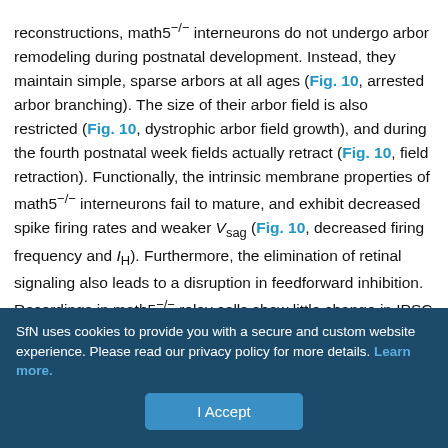reconstructions, math5−/− interneurons do not undergo arbor remodeling during postnatal development. Instead, they maintain simple, sparse arbors at all ages (Fig. 10, arrested arbor branching). The size of their arbor field is also restricted (Fig. 10, dystrophic arbor field growth), and during the fourth postnatal week fields actually retract (Fig. 10, field retraction). Functionally, the intrinsic membrane properties of math5−/− interneurons fail to mature, and exhibit decreased spike firing rates and weaker Vsag (Fig. 10, decreased firing frequency and IH). Furthermore, the elimination of retinal signaling also leads to a disruption in feedforward inhibition. Recordings in math5−/− relay cells show little change in IPSC frequency after pharmacological activation of F2 terminals. By contrast, WT relay neurons exhibit a twofold to fourfold increase in
SfN uses cookies to provide you with a secure and custom website experience. Please read our privacy policy for more details. Learn more.
I Accept